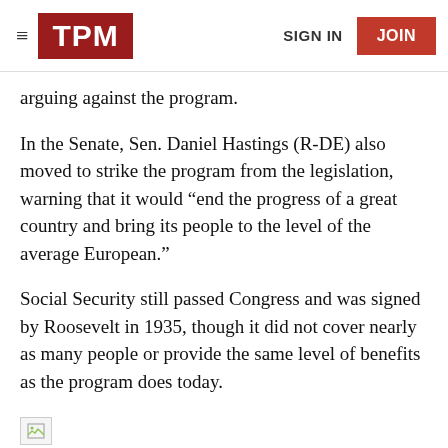TPM | SIGN IN | JOIN
arguing against the program.
In the Senate, Sen. Daniel Hastings (R-DE) also moved to strike the program from the legislation, warning that it would “end the progress of a great country and bring its people to the level of the average European.”
Social Security still passed Congress and was signed by Roosevelt in 1935, though it did not cover nearly as many people or provide the same level of benefits as the program does today.
[Figure (other): Broken image placeholder icon]